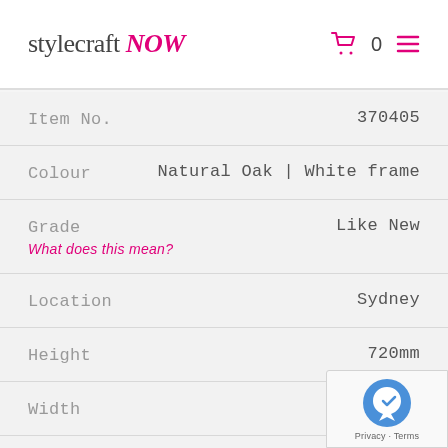stylecraft NOW
| Field | Value |
| --- | --- |
| Item No. | 370405 |
| Colour | Natural Oak | White frame |
| Grade | Like New |
| Location | Sydney |
| Height | 720mm |
| Width | 1600mm |
| Depth | 90... |
What does this mean?